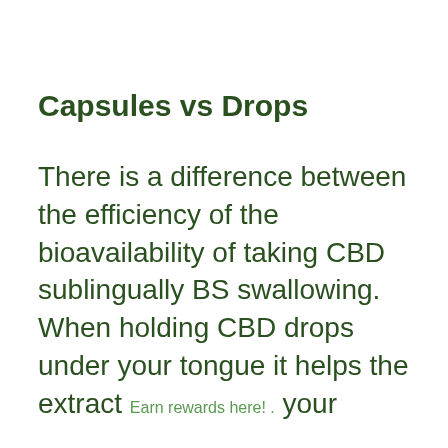Capsules vs Drops
There is a difference between the efficiency of the bioavailability of taking CBD sublingually BS swallowing. When holding CBD drops under your tongue it helps the extract  Earn rewards here! . your